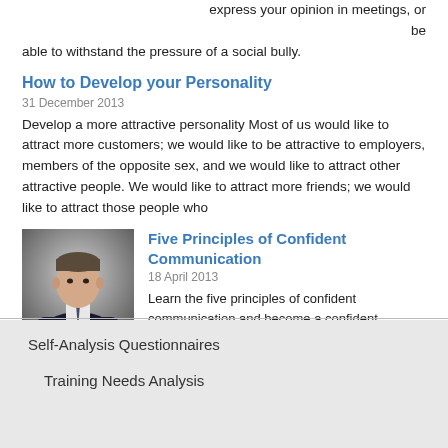express your opinion in meetings, or be able to withstand the pressure of a social bully.
How to Develop your Personality
31 December 2013
Develop a more attractive personality Most of us would like to attract more customers; we would like to be attractive to employers, members of the opposite sex, and we would like to attract other attractive people. We would like to attract more friends; we would like to attract those people who
[Figure (photo): Professional man in dark suit with arms crossed, portrait style photo]
Five Principles of Confident Communication
18 April 2013
Learn the five principles of confident communication and become a confident leader/manager.
Self-Analysis Questionnaires
Training Needs Analysis